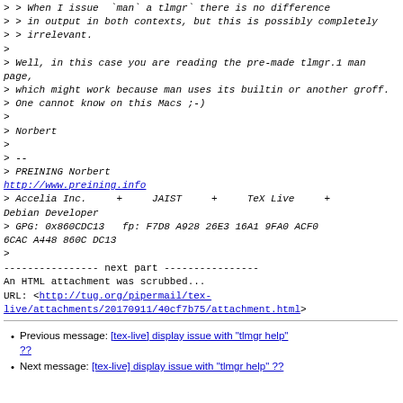> > When I issue `man` a tlmgr` there is no difference
> > in output in both contexts, but this is possibly completely
> > irrelevant.
>
> Well, in this case you are reading the pre-made tlmgr.1 man page,
> which might work because man uses its builtin or another groff.
> One cannot know on this Macs ;-)
>
> Norbert
>
> --
> PREINING Norbert
http://www.preining.info
> Accelia Inc.     +     JAIST     +     TeX Live     +     Debian Developer
> GPG: 0x860CDC13   fp: F7D8 A928 26E3 16A1 9FA0 ACF0 6CAC A448 860C DC13
>
---------------- next part ----------------
An HTML attachment was scrubbed...
URL: <http://tug.org/pipermail/tex-live/attachments/20170911/40cf7b75/attachment.html>
Previous message: [tex-live] display issue with "tlmgr help" ??
Next message: [tex-live] display issue with "tlmgr help" ??